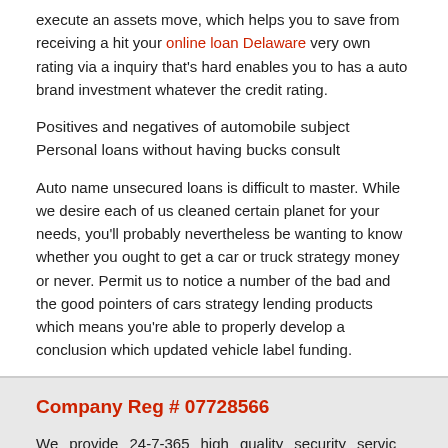execute an assets move, which helps you to save from receiving a hit your online loan Delaware very own rating via a inquiry that's hard enables you to has a auto brand investment whatever the credit rating.
Positives and negatives of automobile subject Personal loans without having bucks consult
Auto name unsecured loans is difficult to master. While we desire each of us cleaned certain planet for your needs, you'll probably nevertheless be wanting to know whether you ought to get a car or truck strategy money or never. Permit us to notice a number of the bad and the good pointers of cars strategy lending products which means you're able to properly develop a conclusion which updated vehicle label funding.
Company Reg # 07728566
We provide 24-7-365 high quality security services nationwide throughout the UK, providing flexible security solutions to meet the needs and demands of our clients. Our management and operational security